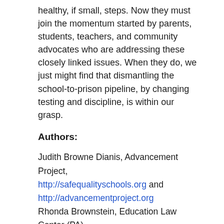healthy, if small, steps. Now they must join the momentum started by parents, students, teachers, and community advocates who are addressing these closely linked issues. When they do, we just might find that dismantling the school-to-prison pipeline, by changing testing and discipline, is within our grasp.
Authors:
Judith Browne Dianis, Advancement Project, http://safequalityschools.org and http://advancementproject.org
Rhonda Brownstein, Education Law Center (PA), http://www.elc-pa.org
Jessica Feierman, Juvenile Law Center, http://www.jlc.org
Monty Neill, FairTest, http://www.fairtest.org

http://blogs.edweek.org/teachers/living-in-